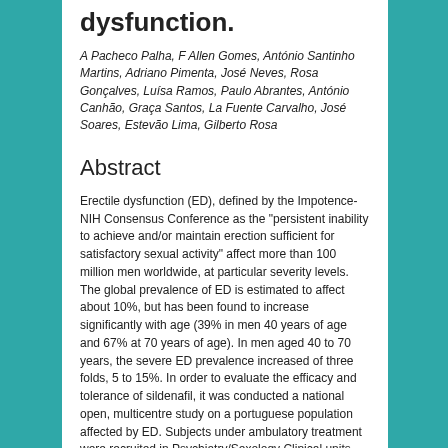dysfunction.
A Pacheco Palha, F Allen Gomes, António Santinho Martins, Adriano Pimenta, José Neves, Rosa Gonçalves, Luísa Ramos, Paulo Abrantes, António Canhão, Graça Santos, La Fuente Carvalho, José Soares, Estevão Lima, Gilberto Rosa
Abstract
Erectile dysfunction (ED), defined by the Impotence-NIH Consensus Conference as the "persistent inability to achieve and/or maintain erection sufficient for satisfactory sexual activity" affect more than 100 million men worldwide, at particular severity levels. The global prevalence of ED is estimated to affect about 10%, but has been found to increase significantly with age (39% in men 40 years of age and 67% at 70 years of age). In men aged 40 to 70 years, the severe ED prevalence increased of three folds, 5 to 15%. In order to evaluate the efficacy and tolerance of sildenafil, it was conducted a national open, multicentre study on a portuguese population affected by ED. Subjects under ambulatory treatment were recruited in Psychiatry/Sexology Clinical units and Urology/Andrology. The results of the study carried out on a group of 62 men with ED, demonstrate that sildenafil was effective in the recovering of erectile function, increasing the number of attempts to sexual